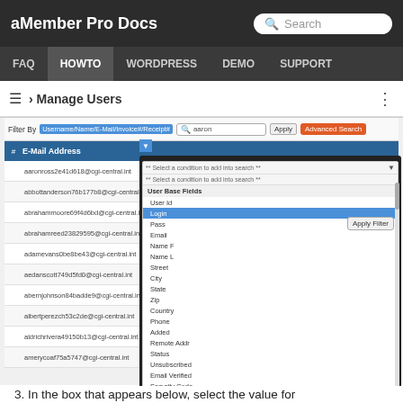aMember Pro Docs — Search
[Figure (screenshot): Screenshot of aMember Pro Docs admin interface showing Manage Users page with a filter dropdown open, displaying User Base Fields options including Login highlighted in blue. Email addresses listed in table below.]
3. In the box that appears below, select the value for